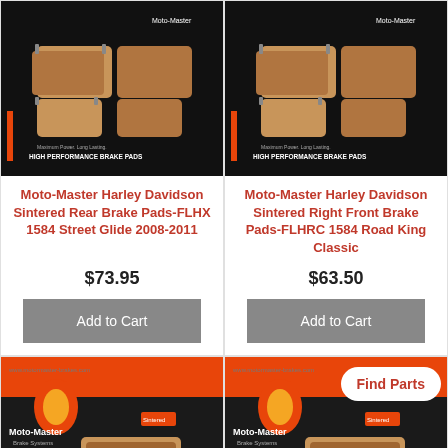[Figure (photo): Moto-Master RoadPro High Performance Brake Pads product image on black background]
Moto-Master Harley Davidson Sintered Rear Brake Pads-FLHX 1584 Street Glide 2008-2011
$73.95
Add to Cart
[Figure (photo): Moto-Master RoadPro High Performance Brake Pads product image on black background]
Moto-Master Harley Davidson Sintered Right Front Brake Pads-FLHRC 1584 Road King Classic
$63.50
Add to Cart
[Figure (photo): Moto-Master Road product on orange background, partially visible]
[Figure (photo): Moto-Master Road product on orange background, partially visible with Find Parts button overlay]
Find Parts
Leave a message